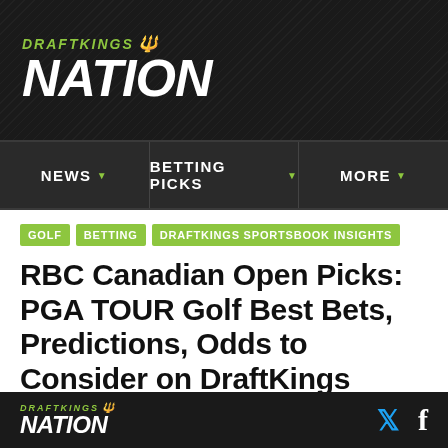[Figure (logo): DraftKings Nation logo — green italic DRAFTKINGS with crown icon above large white italic NATION, on dark textured background]
NEWS  BETTING PICKS  MORE
GOLF
BETTING
DRAFTKINGS SPORTSBOOK INSIGHTS
RBC Canadian Open Picks: PGA TOUR Golf Best Bets, Predictions, Odds to Consider on DraftKings Sportsbook
Geoff Ulrich provides his top golf bets on DraftKings Sportsbook for the RBC Canadian Open.
DRAFTKINGS NATION